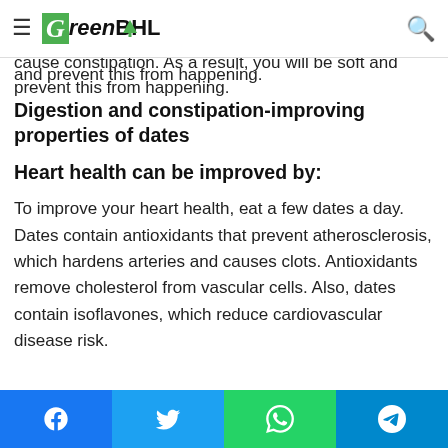GreenBHL navigation bar with hamburger menu and search icon
fiber can also prevent gastrointestinal cancer. Consuming at least 30 to 35 grams of fiber per day may cause constipation. As a result, you will be soft and prevent this from happening.
Digestion and constipation-improving properties of dates
Heart health can be improved by:
To improve your heart health, eat a few dates a day. Dates contain antioxidants that prevent atherosclerosis, which hardens arteries and causes clots. Antioxidants remove cholesterol from vascular cells. Also, dates contain isoflavones, which reduce cardiovascular disease risk.
Social share buttons: Facebook, Twitter, WhatsApp, Telegram